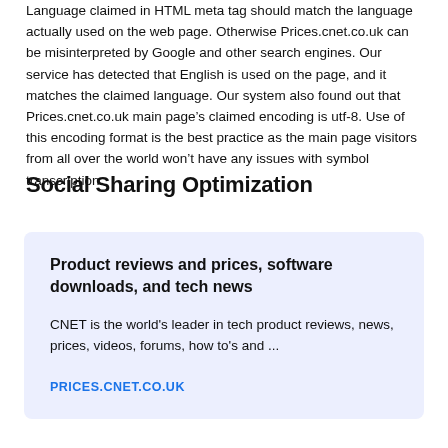Language claimed in HTML meta tag should match the language actually used on the web page. Otherwise Prices.cnet.co.uk can be misinterpreted by Google and other search engines. Our service has detected that English is used on the page, and it matches the claimed language. Our system also found out that Prices.cnet.co.uk main page’s claimed encoding is utf-8. Use of this encoding format is the best practice as the main page visitors from all over the world won’t have any issues with symbol transcription.
Social Sharing Optimization
Product reviews and prices, software downloads, and tech news
CNET is the world's leader in tech product reviews, news, prices, videos, forums, how to's and ...
PRICES.CNET.CO.UK